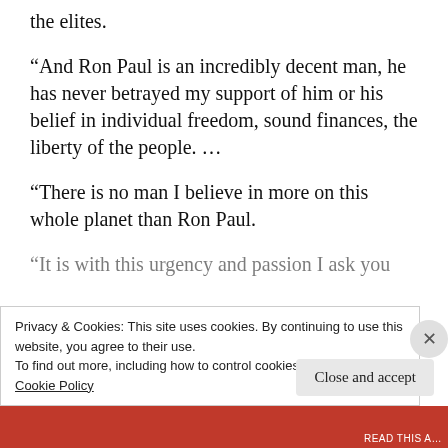the elites.
“And Ron Paul is an incredibly decent man, he has never betrayed my support of him or his belief in individual freedom, sound finances, the liberty of the people. …
“There is no man I believe in more on this whole planet than Ron Paul.
“It is with this urgency and passion I ask you
Privacy & Cookies: This site uses cookies. By continuing to use this website, you agree to their use.
To find out more, including how to control cookies, see here:
Cookie Policy
Close and accept